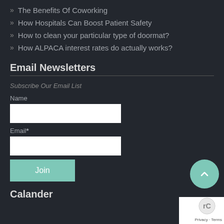The Benefits Of Coworking
How Hospitals Can Boost Patient Safety
How to clean your particular type of doormat?
How ALPACA interest rates do actually works?
Email Newsletters
Subscribe Our Email List
Name
Email*
Join
Calander